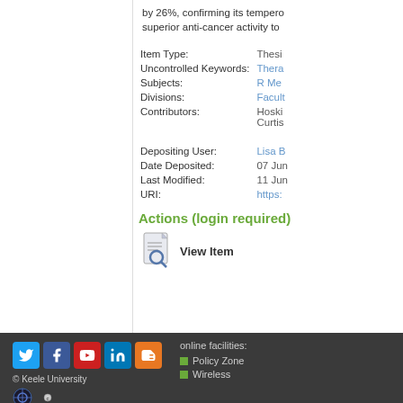by 26%, confirming its tempero superior anti-cancer activity to
| Field | Value |
| --- | --- |
| Item Type: | Thesis |
| Uncontrolled Keywords: | Thera… |
| Subjects: | R Me… |
| Divisions: | Facult… |
| Contributors: | Hoski… Curtis… |
| Depositing User: | Lisa B… |
| Date Deposited: | 07 Jun… |
| Last Modified: | 11 Jun… |
| URI: | https:… |
Actions (login required)
View Item
online facilities: Policy Zone Wireless © Keele University